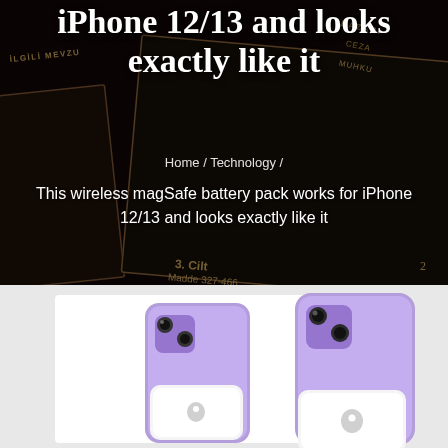iPhone 12/13 and looks exactly like it
Home / Technology /
This wireless magSafe battery pack works for iPhone 12/13 and looks exactly like it
[Figure (photo): Two purple iPhones (iPhone 12 mini and iPhone 12) shown from the back with a white MagSafe battery pack attached to the larger one, on a light gray background.]